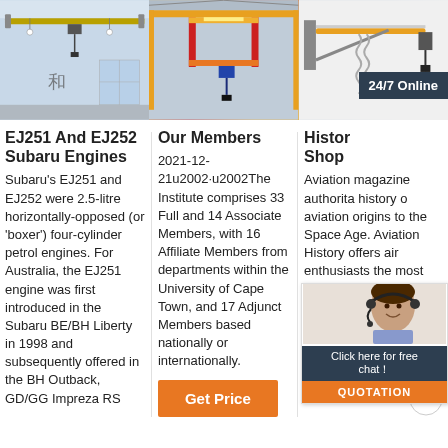[Figure (photo): Industrial overhead crane in a factory building with Chinese characters visible]
[Figure (photo): Colorful overhead crane system in red, orange, and yellow in a warehouse]
[Figure (photo): Wall-mounted jib crane with hoist, white background, with 24/7 Online overlay badge]
EJ251 And EJ252 Subaru Engines
Subaru's EJ251 and EJ252 were 2.5-litre horizontally-opposed (or 'boxer') four-cylinder petrol engines. For Australia, the EJ251 engine was first introduced in the Subaru BE/BH Liberty in 1998 and subsequently offered in the BH Outback, GD/GG Impreza RS
Our Members
2021-12-21u2002·u2002The Institute comprises 33 Full and 14 Associate Members, with 16 Affiliate Members from departments within the University of Cape Town, and 17 Adjunct Members based nationally or internationally.
[Figure (other): Orange Get Price button]
Histor Shop
Aviation magazine authorita history o aviation origins to the Space Age. Aviation History offers air enthusiasts the most detailed coverage of the history of manned flight, with a packed stories and illustrations that put the reader in the
[Figure (photo): Customer service representative with headset, chat overlay with Click here for free chat and QUOTATION button]